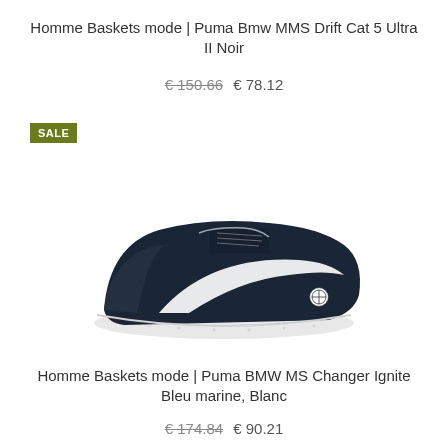Homme Baskets mode | Puma Bmw MMS Drift Cat 5 Ultra II Noir
€ 150.66  € 78.12
SALE
[Figure (photo): Dark navy blue Puma BMW sneaker / low-top trainer with white Puma stripe and white speckled sole, shown at an angle on a white background]
Homme Baskets mode | Puma BMW MS Changer Ignite Bleu marine, Blanc
€ 174.84  € 90.21